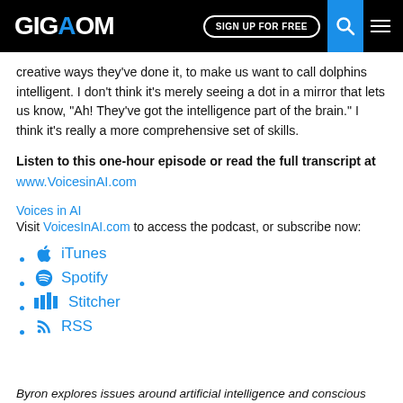GIGAOM | SIGN UP FOR FREE
creative ways they’ve done it, to make us want to call dolphins intelligent. I don’t think it’s merely seeing a dot in a mirror that lets us know, “Ah! They’ve got the intelligence part of the brain.” I think it’s really a more comprehensive set of skills.
Listen to this one-hour episode or read the full transcript at www.VoicesinAI.com
Voices in AI
Visit VoicesInAI.com to access the podcast, or subscribe now:
iTunes
Spotify
Stitcher
RSS
Byron explores issues around artificial intelligence and conscious